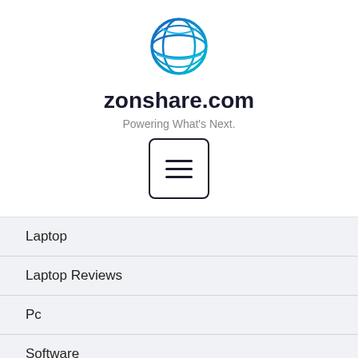[Figure (logo): Zonshare.com globe logo — blue and teal circular globe icon with horizontal and diagonal lines]
zonshare.com
Powering What's Next.
[Figure (other): Hamburger menu button — three horizontal lines inside a rounded rectangle border]
Laptop
Laptop Reviews
Pc
Software
SOFTWARE
Software Cheap